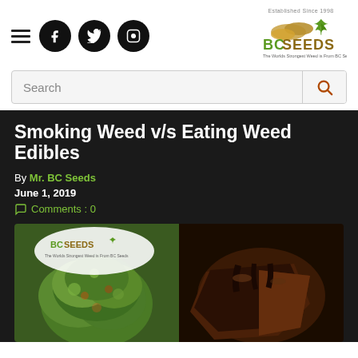BC Seeds website header with hamburger menu, social icons (Facebook, Twitter, Instagram), and BC Seeds logo
Search
Smoking Weed v/s Eating Weed Edibles
By Mr. BC Seeds
June 1, 2019
Comments : 0
[Figure (photo): Split image showing cannabis buds on the left and chocolate brownies on the right, with BC Seeds logo watermark in top left corner]